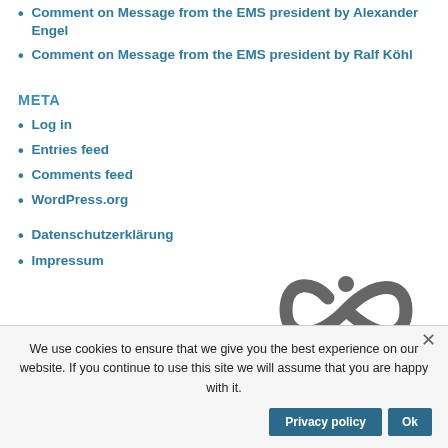Comment on Message from the EMS president by Alexander Engel
Comment on Message from the EMS president by Ralf Köhl
META
Log in
Entries feed
Comments feed
WordPress.org
Datenschutzerklärung
Impressum
[Figure (logo): SPP 2026 Geometry at Infinity logo with infinity symbol]
SPP 2026 - Geometry at Infinity / Proudly powered by netzmagnet GmbH
We use cookies to ensure that we give you the best experience on our website. If you continue to use this site we will assume that you are happy with it.